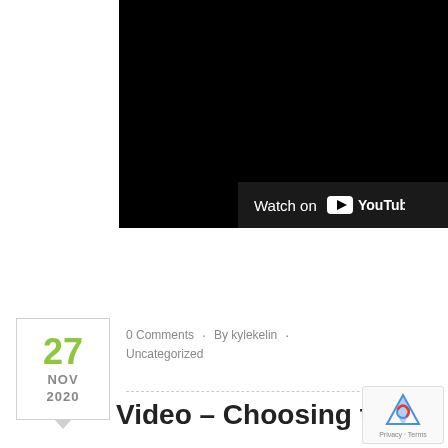[Figure (screenshot): YouTube video embed showing a black video player with 'Watch on YouTube' bar at the bottom]
27 NOV 2020
0 Comments · By kylekelin · Uncategorized
Video – Choosing the